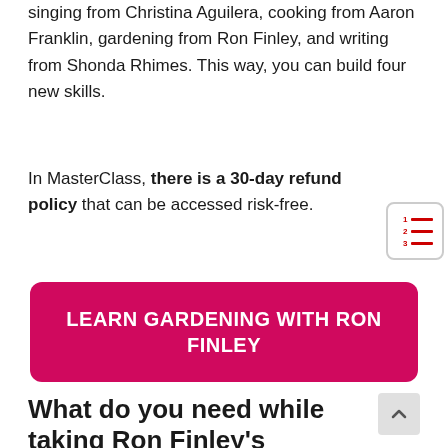singing from Christina Aguilera, cooking from Aaron Franklin, gardening from Ron Finley, and writing from Shonda Rhimes. This way, you can build four new skills.
In MasterClass, there is a 30-day refund policy that can be accessed risk-free.
[Figure (other): Numbered list icon with red lines]
[Figure (other): Call-to-action button: LEARN GARDENING WITH RON FINLEY on a pink/magenta background]
[Figure (other): Back to top arrow button]
What do you need while taking Ron Finley's